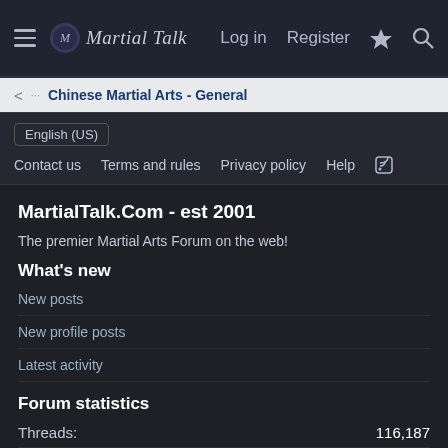Martial Talk — Log in  Register
Chinese Martial Arts - General
English (US)
Contact us  Terms and rules  Privacy policy  Help  RSS
MartialTalk.Com - est 2001
The premier Martial Arts Forum on the web!
What's new
New posts
New profile posts
Latest activity
Forum statistics
Threads:  116,187